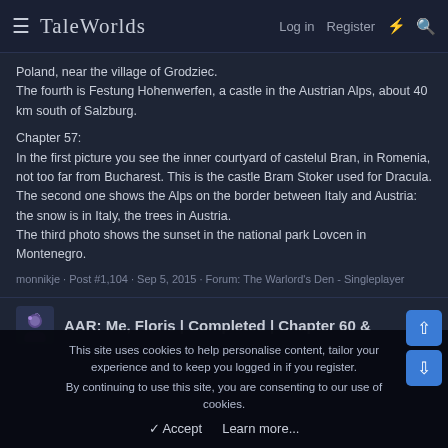TaleWorlds — Log in · Register
Poland, near the village of Grodziec.
The fourth is Festung Hohenwerfen, a castle in the Austrian Alps, about 40 km south of Salzburg.
Chapter 57:
In the first picture you see the inner courtyard of castelul Bran, in Romenia, not too far from Bucharest. This is the castle Bram Stoker used for Dracula.
The second one shows the Alps on the border between Italy and Austria: the snow is in Italy, the trees in Austria.
The third photo shows the sunset in the national park Lovcen in Montenegro.
monnikje · Post #1,104 · Sep 5, 2015 · Forum: The Warlord's Den - Singleplayer
AAR: Me, Floris | Completed | Chapter 60 &
This site uses cookies to help personalise content, tailor your experience and to keep you logged in if you register.
By continuing to use this site, you are consenting to our use of cookies.
✓ Accept    Learn more...